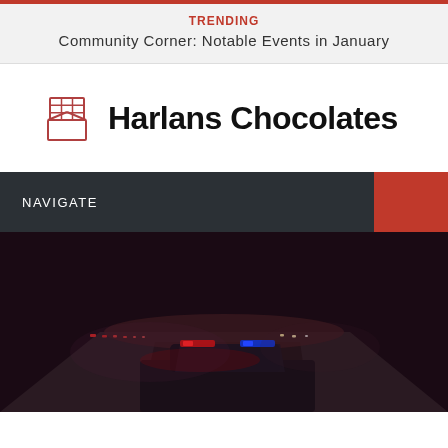TRENDING
Community Corner: Notable Events in January
[Figure (logo): Harlans Chocolates logo with a chocolate bar icon]
Harlans Chocolates
NAVIGATE
[Figure (photo): Nighttime road scene with police car lights visible, dark sky with red and white lights reflecting off highway]